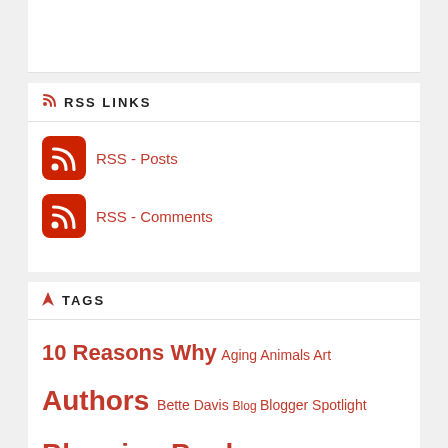RSS LINKS
RSS - Posts
RSS - Comments
TAGS
10 Reasons Why Aging Animals Art Authors Bette Davis Blog Blogger Spotlight Blogging Books Broadway Cats Childhood Christmas Cinema Clara Bow Comedy Competa Culture Dance Dreams Drinking Is Fun Equality Family...